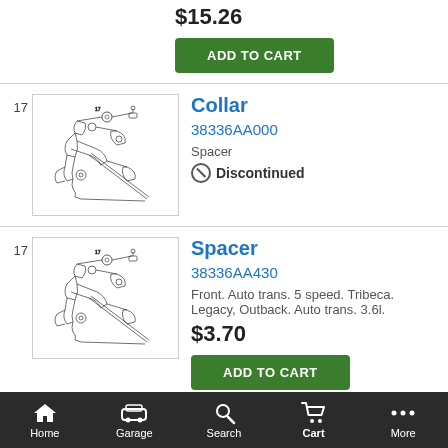$15.26
ADD TO CART
Collar
38336AA000
Spacer
Discontinued
[Figure (engineering-diagram): Technical line drawing of auto transmission parts/assembly]
Spacer
38336AA430
Front. Auto trans. 5 speed. Tribeca. Legacy, Outback. Auto trans. 3.6l.
[Figure (engineering-diagram): Technical line drawing of auto transmission parts/assembly]
$3.70
ADD TO CART
Collar
[Figure (engineering-diagram): Technical line drawing of auto transmission parts/assembly (partial)]
Home  Garage  Search  Cart  More